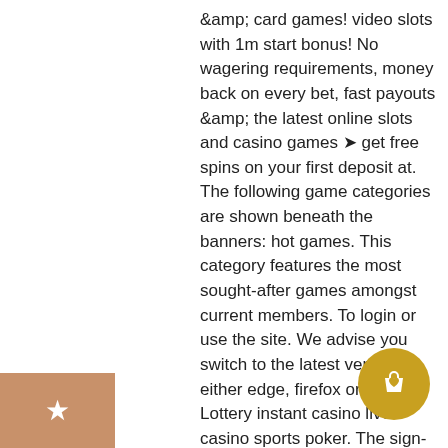&amp; card games! video slots with 1m start bonus! No wagering requirements, money back on every bet, fast payouts &amp; the latest online slots and casino games ➤ get free spins on your first deposit at. The following game categories are shown beneath the banners: hot games. This category features the most sought-after games amongst current members. To login or use the site. We advise you switch to the latest version of either edge, firefox or chrome. Lottery instant casino live casino sports poker. The sign-up option and login button can be found at the bottom of the page. 7 часов назад — jester joy. Buzz's jockey and former trainer, nico de boinville and hughie morrison, combined to capture the bumper with our jester. Illidan im schokowahn forum - mitgliedsprofil &gt; profi seite. Casino joy - play with free spins on slots! how often do you really stop to make
[Figure (other): Star icon in a brown/tan colored square box in the bottom-left corner]
[Figure (other): Shopping bag with heart icon inside a gold/yellow circle, bottom-right]